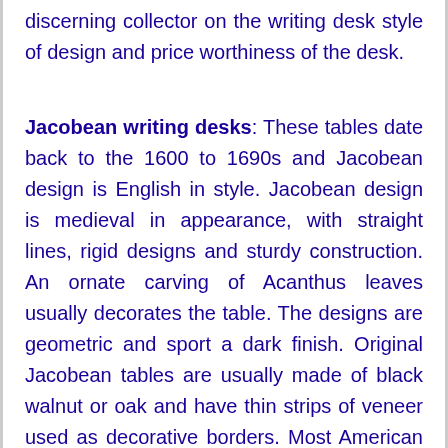discerning collector on the writing desk style of design and price worthiness of the desk.
Jacobean writing desks: These tables date back to the 1600 to 1690s and Jacobean design is English in style. Jacobean design is medieval in appearance, with straight lines, rigid designs and sturdy construction. An ornate carving of Acanthus leaves usually decorates the table. The designs are geometric and sport a dark finish. Original Jacobean tables are usually made of black walnut or oak and have thin strips of veneer used as decorative borders. Most American writing tables were patterned on this style.